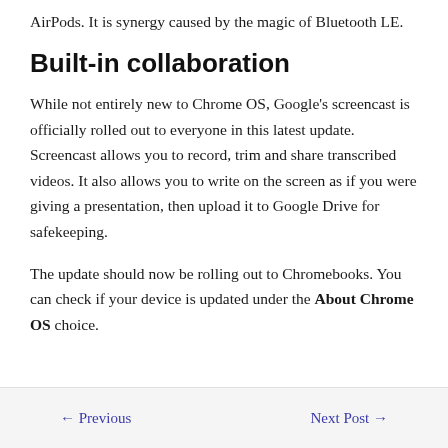AirPods. It is synergy caused by the magic of Bluetooth LE.
Built-in collaboration
While not entirely new to Chrome OS, Google's screencast is officially rolled out to everyone in this latest update. Screencast allows you to record, trim and share transcribed videos. It also allows you to write on the screen as if you were giving a presentation, then upload it to Google Drive for safekeeping.
The update should now be rolling out to Chromebooks. You can check if your device is updated under the About Chrome OS choice.
← Previous    Next Post →